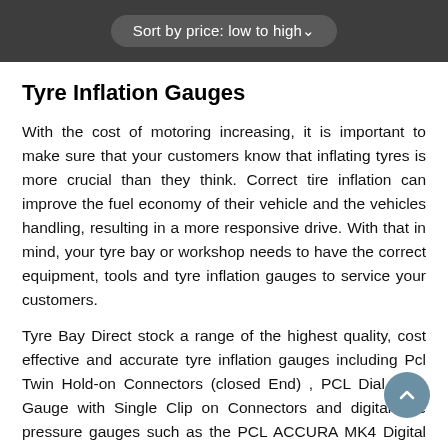Sort by price: low to high
Tyre Inflation Gauges
With the cost of motoring increasing, it is important to make sure that your customers know that inflating tyres is more crucial than they think. Correct tire inflation can improve the fuel economy of their vehicle and the vehicles handling, resulting in a more responsive drive. With that in mind, your tyre bay or workshop needs to have the correct equipment, tools and tyre inflation gauges to service your customers.
Tyre Bay Direct stock a range of the highest quality, cost effective and accurate tyre inflation gauges including Pcl Twin Hold-on Connectors (closed End) , PCL Dial Type Gauge with Single Clip on Connectors and digital tyre pressure gauges such as the PCL ACCURA MK4 Digital Tyre Inflator .